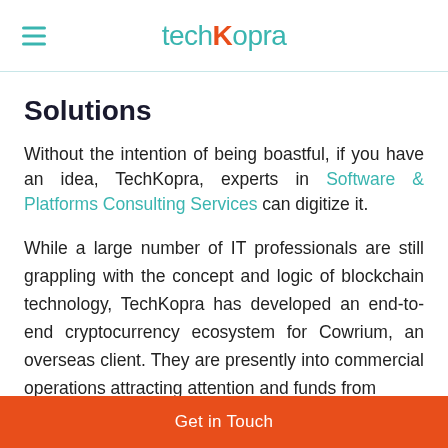techkopra
Solutions
Without the intention of being boastful, if you have an idea, TechKopra, experts in Software & Platforms Consulting Services can digitize it.
While a large number of IT professionals are still grappling with the concept and logic of blockchain technology, TechKopra has developed an end-to-end cryptocurrency ecosystem for Cowrium, an overseas client. They are presently into commercial operations attracting attention and funds from
Get in Touch